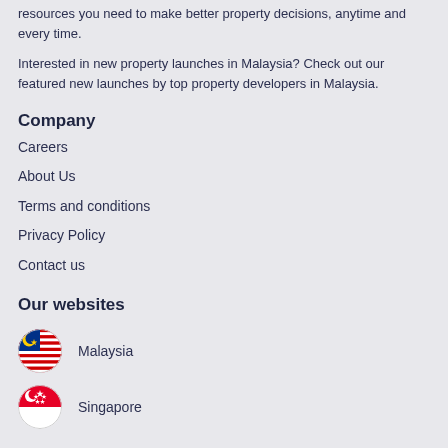resources you need to make better property decisions, anytime and every time.
Interested in new property launches in Malaysia? Check out our featured new launches by top property developers in Malaysia.
Company
Careers
About Us
Terms and conditions
Privacy Policy
Contact us
Our websites
Malaysia
Singapore